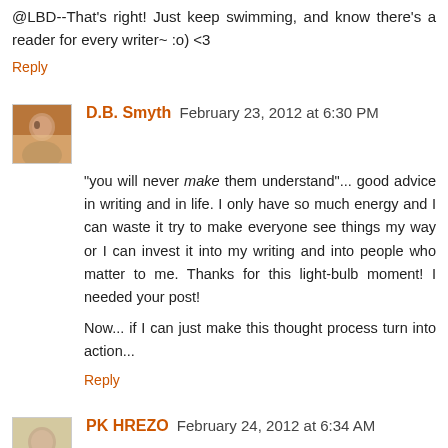@LBD--That's right! Just keep swimming, and know there's a reader for every writer~ :o) <3
Reply
D.B. Smyth February 23, 2012 at 6:30 PM
"you will never make them understand"... good advice in writing and in life. I only have so much energy and I can waste it try to make everyone see things my way or I can invest it into my writing and into people who matter to me. Thanks for this light-bulb moment! I needed your post!

Now... if I can just make this thought process turn into action...
Reply
PK HREZO February 24, 2012 at 6:34 AM
So true. I've heard some just dont read the bad reviews. I can see how that'd make sense. Not every story is for everyone. We just have to find those who do like the work,